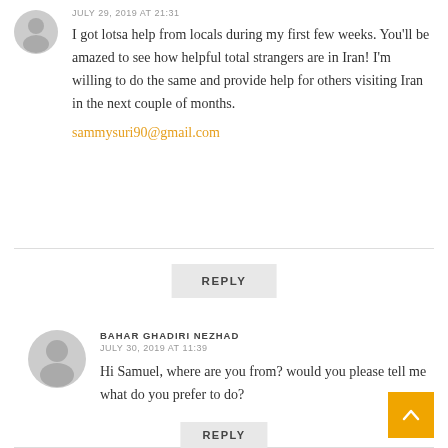JULY 29, 2019 AT 21:31
I got lotsa help from locals during my first few weeks. You'll be amazed to see how helpful total strangers are in Iran! I'm willing to do the same and provide help for others visiting Iran in the next couple of months.
sammysuri90@gmail.com
REPLY
BAHAR GHADIRI NEZHAD
JULY 30, 2019 AT 11:39
Hi Samuel, where are you from? would you please tell me what do you prefer to do?
REPLY